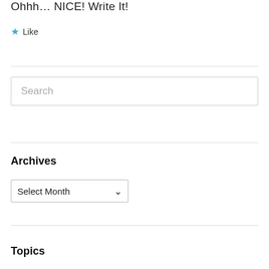Ohhh… NICE! Write It!
★ Like
Search
Archives
Select Month
Topics